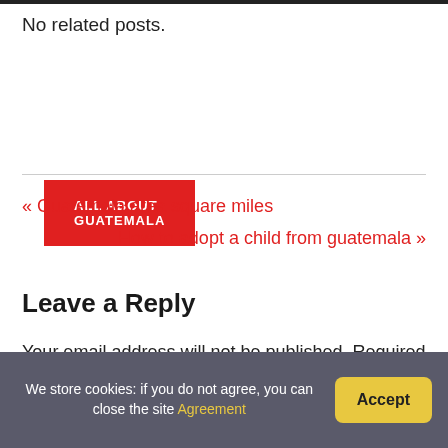No related posts.
ALL ABOUT GUATEMALA
« Guatemala area square miles
How to adopt a child from guatemala »
Leave a Reply
Your email address will not be published. Required fields are marked *
We store cookies: if you do not agree, you can close the site Agreement  Accept